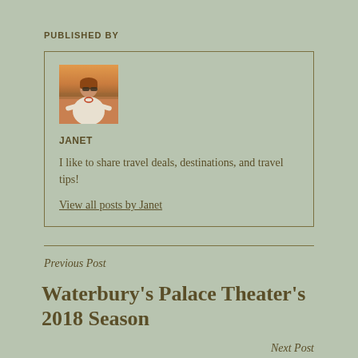PUBLISHED BY
[Figure (photo): Portrait photo of Janet, a woman wearing sunglasses and a white top, outdoors at sunset]
JANET
I like to share travel deals, destinations, and travel tips!
View all posts by Janet
Previous Post
Waterbury's Palace Theater's 2018 Season
Next Post